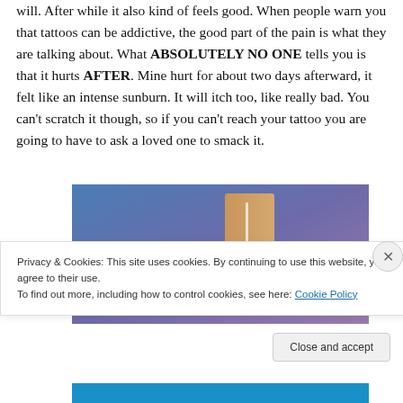will. After while it also kind of feels good. When people warn you that tattoos can be addictive, the good part of the pain is what they are talking about. What ABSOLUTELY NO ONE tells you is that it hurts AFTER. Mine hurt for about two days afterward, it felt like an intense sunburn. It will itch too, like really bad. You can't scratch it though, so if you can't reach your tattoo you are going to have to ask a loved one to smack it.
[Figure (photo): Partial image showing a blue-to-purple gradient background with a tan/skin-colored rectangular shape in the upper center area, likely showing a tattoo on skin with decorative background.]
Privacy & Cookies: This site uses cookies. By continuing to use this website, you agree to their use.
To find out more, including how to control cookies, see here: Cookie Policy
Close and accept